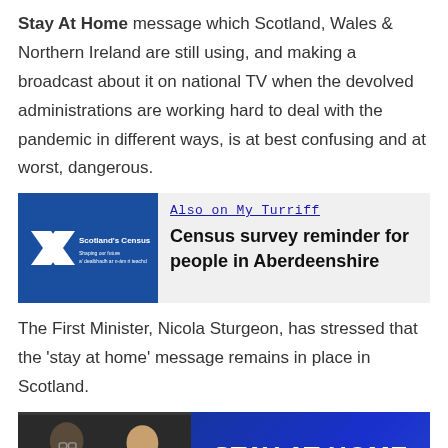Stay At Home message which Scotland, Wales & Northern Ireland are still using, and making a broadcast about it on national TV when the devolved administrations are working hard to deal with the pandemic in different ways, is at best confusing and at worst, dangerous.
[Figure (screenshot): Promotional box with Scotland's Census logo on a blue background on the left, and a link titled 'Also on My Turriff' with headline 'Census survey reminder for people in Aberdeenshire' on a grey background on the right.]
The First Minister, Nicola Sturgeon, has stressed that the 'stay at home' message remains in place in Scotland.
[Figure (photo): Photo of two people at a press conference. On the right side of the image, a blue banner reads 'STAY AT HOME' in large white bold text.]